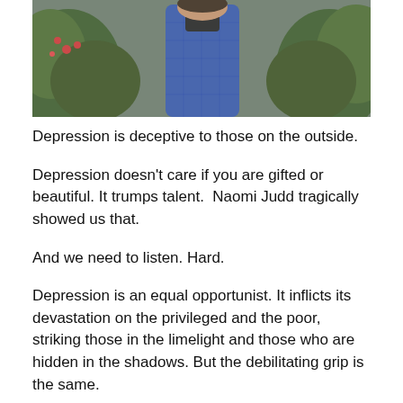[Figure (photo): Person wearing a blue quilted jacket outdoors with green shrubs in the background]
Depression is deceptive to those on the outside.
Depression doesn’t care if you are gifted or beautiful. It trumps talent.  Naomi Judd tragically showed us that.
And we need to listen. Hard.
Depression is an equal opportunist. It inflicts its devastation on the privileged and the poor, striking those in the limelight and those who are hidden in the shadows. But the debilitating grip is the same.
And as with Naomi Judd, its grip can be lethal.
Advertisements